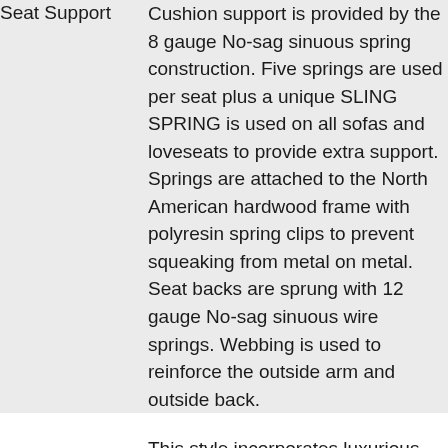| Seat Support | Cushion support is provided by the 8 gauge No-sag sinuous spring construction. Five springs are used per seat plus a unique SLING SPRING is used on all sofas and loveseats to provide extra support. Springs are attached to the North American hardwood frame with polyresin spring clips to prevent squeaking from metal on metal. Seat backs are sprung with 12 gauge No-sag sinuous wire springs. Webbing is used to reinforce the outside arm and outside back. |
|  | This style incorporates luxurious eco-friendly foam and is manufactured without CFCs (chlorofluorocarbons), using highly resilient 1.8 lb to 2.5 lb. density. Foam consists of natural soya oils, fresh... |